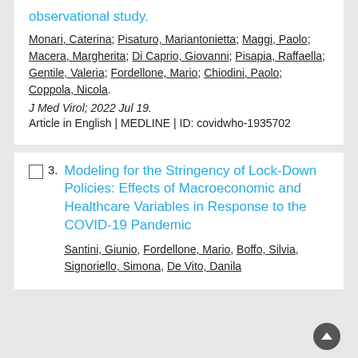observational study.
Monari, Caterina; Pisaturo, Mariantonietta; Maggi, Paolo; Macera, Margherita; Di Caprio, Giovanni; Pisapia, Raffaella; Gentile, Valeria; Fordellone, Mario; Chiodini, Paolo; Coppola, Nicola.
J Med Virol; 2022 Jul 19.
Article in English | MEDLINE | ID: covidwho-1935702
Modeling for the Stringency of Lock-Down Policies: Effects of Macroeconomic and Healthcare Variables in Response to the COVID-19 Pandemic
Santini, Giunio, Fordellone, Mario, Boffo, Silvia, Signoriello, Simona, De Vito, Danila